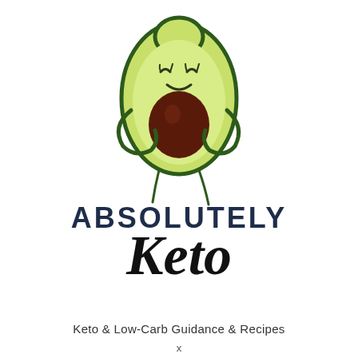[Figure (illustration): Cartoon avocado character cut in half showing dark brown pit, with small arms hugging itself and a happy smiling face with closed eyes, drawn in green and dark green outline on white background]
ABSOLUTELY Keto
Keto & Low-Carb Guidance & Recipes